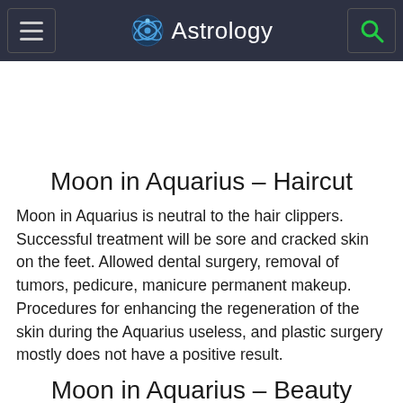Astrology
Moon in Aquarius – Haircut
Moon in Aquarius is neutral to the hair clippers. Successful treatment will be sore and cracked skin on the feet. Allowed dental surgery, removal of tumors, pedicure, manicure permanent makeup. Procedures for enhancing the regeneration of the skin during the Aquarius useless, and plastic surgery mostly does not have a positive result.
Moon in Aquarius – Beauty
When the Moon is in Aquarius intensely nourish various electrical treatments, herbal tea, masks, creams. Of great importance are nutrition and body care.